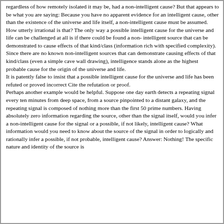regardless of how remotely isolated it may be, had a non-intelligent cause? But that appears to be what you are saying: Because you have no apparent evidence for an intelligent cause, other than the existence of the universe and life itself, a non-intelligent cause must be assumed. How utterly irrational is that? The only way a possible intelligent cause for the universe and life can be challenged at all is if there could be found a non- intelligent source that can be demonstrated to cause effects of that kind/class (information rich with specified complexity). Since there are no known non-intelligent sources that can demonstrate causing effects of that kind/class (even a simple cave wall drawing), intelligence stands alone as the highest probable cause for the origin of the universe and life. It is patently false to insist that a possible intelligent cause for the universe and life has been refuted or proved incorrect Cite the refutation or proof. Perhaps another example would be helpful. Suppose one day earth detects a repeating signal every ten minutes from deep space, from a source pinpointed to a distant galaxy, and the repeating signal is composed of nothing more than the first 50 prime numbers. Having absolutely zero information regarding the source, other than the signal itself, would you infer a non-intelligent cause for the signal or a possible, if not likely, intelligent cause? What information would you need to know about the source of the signal in order to logically and rationally infer a possible, if not probable, intelligent cause? Answer: Nothing! The specific nature and identity of the source is